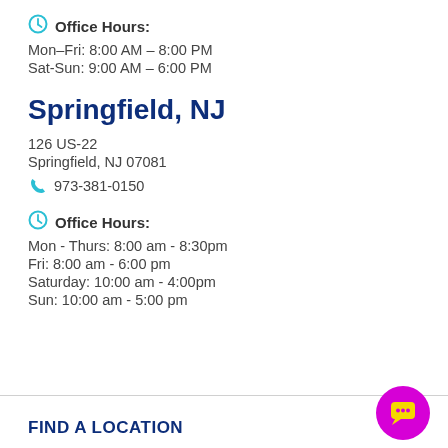Office Hours: Mon–Fri: 8:00 AM – 8:00 PM Sat-Sun: 9:00 AM – 6:00 PM
Springfield, NJ
126 US-22
Springfield, NJ 07081
973-381-0150
Office Hours: Mon - Thurs: 8:00 am - 8:30pm Fri: 8:00 am - 6:00 pm Saturday: 10:00 am - 4:00pm Sun: 10:00 am - 5:00 pm
FIND A LOCATION